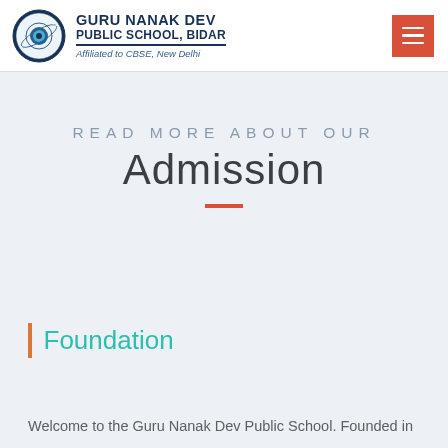GURU NANAK DEV PUBLIC SCHOOL, BIDAR — Affiliated to CBSE, New Delhi
READ MORE ABOUT OUR
Admission
Foundation
Welcome to the Guru Nanak Dev Public School. Founded in